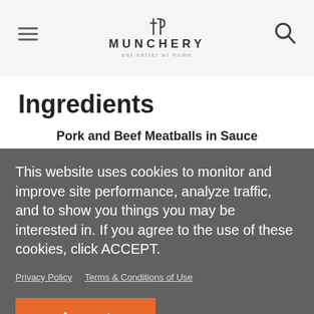MUNCHERY — eat better at home
Ingredients
Pork and Beef Meatballs in Sauce
¼ cup shaved parmesan
This website uses cookies to monitor and improve site performance, analyze traffic, and to show you things you may be interested in. If you agree to the use of these cookies, click ACCEPT.
Privacy Policy   Terms & Conditions of Use
Accept